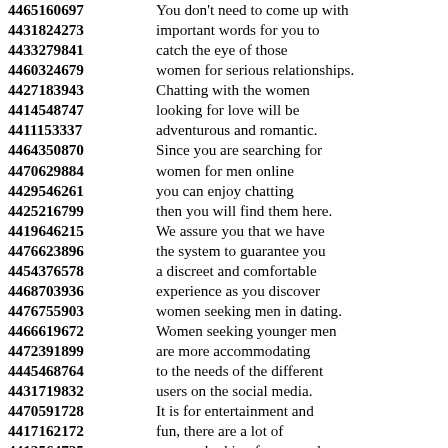4465160697 You don't need to come up with
4431824273 important words for you to
4433279841 catch the eye of those
4460324679 women for serious relationships.
4427183943 Chatting with the women
4414548747 looking for love will be
4411153337 adventurous and romantic.
4464350870 Since you are searching for
4470629884 women for men online
4429546261 you can enjoy chatting
4425216799 then you will find them here.
4419646215 We assure you that we have
4476623896 the system to guarantee you
4454376578 a discreet and comfortable
4468703936 experience as you discover
4476755903 women seeking men in dating.
4466619672 Women seeking younger men
4472391899 are more accommodating
4445468764 to the needs of the different
4431719832 users on the social media.
4470591728 It is for entertainment and
4417162172 fun, there are a lot of
4413564725 women looking for men who
4447851702 are open-minded and ready to
4451437253 explore more about real